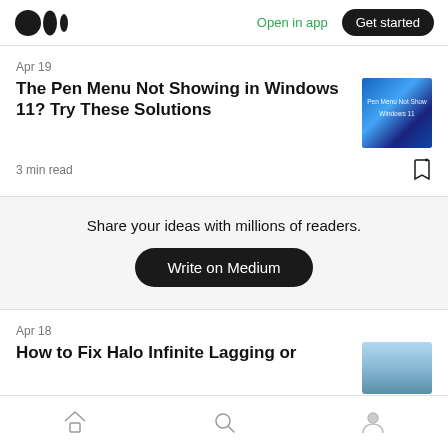Medium logo | Open in app | Get started
Apr 19
The Pen Menu Not Showing in Windows 11? Try These Solutions
3 min read
Share your ideas with millions of readers.
Write on Medium
Apr 18
How to Fix Halo Infinite Lagging or
Home | Search | Profile